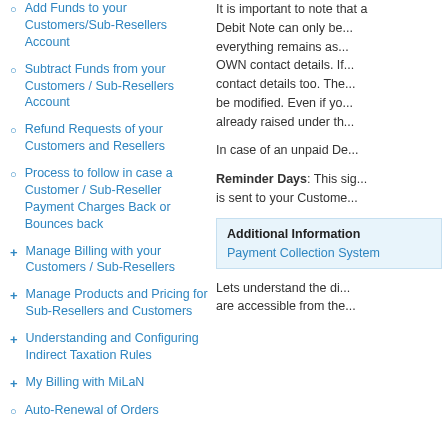Add Funds to your Customers/Sub-Resellers Account
Subtract Funds from your Customers / Sub-Resellers Account
Refund Requests of your Customers and Resellers
Process to follow in case a Customer / Sub-Reseller Payment Charges Back or Bounces back
Manage Billing with your Customers / Sub-Resellers
Manage Products and Pricing for Sub-Resellers and Customers
Understanding and Configuring Indirect Taxation Rules
My Billing with MiLaN
Auto-Renewal of Orders
It is important to note that a Debit Note can only be... everything remains as... OWN contact details. If... contact details too. The... be modified. Even if you... already raised under th...
In case of an unpaid De...
Reminder Days: This sig... is sent to your Custome...
Additional Information
Payment Collection System
Lets understand the di... are accessible from the...